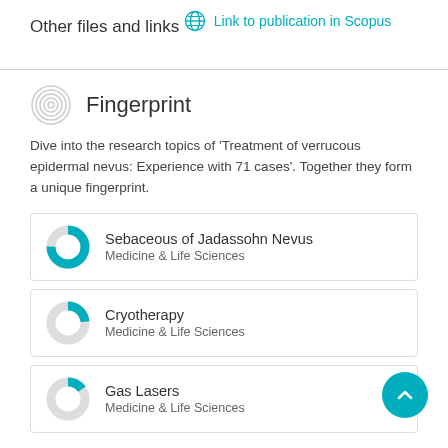Other files and links
Link to publication in Scopus
Fingerprint
Dive into the research topics of 'Treatment of verrucous epidermal nevus: Experience with 71 cases'. Together they form a unique fingerprint.
Sebaceous of Jadassohn Nevus
Medicine & Life Sciences
Cryotherapy
Medicine & Life Sciences
Gas Lasers
Medicine & Life Sciences